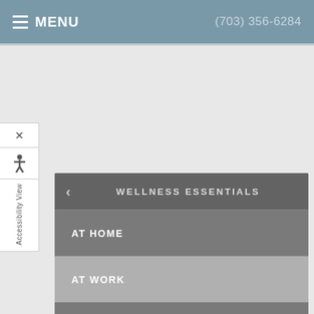MENU  (703) 356-6284
WELLNESS ESSENTIALS
AT HOME
AT WORK
EXERCISE
NUTRITION
WHAT YOU WEAR